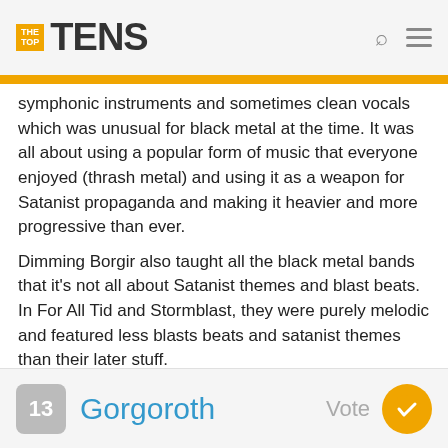THE TOP TENS
symphonic instruments and sometimes clean vocals which was unusual for black metal at the time. It was all about using a popular form of music that everyone enjoyed (thrash metal) and using it as a weapon for Satanist propaganda and making it heavier and more progressive than ever.
Dimming Borgir also taught all the black metal bands that it's not all about Satanist themes and blast beats. In For All Tid and Stormblast, they were purely melodic and featured less blasts beats and satanist themes than their later stuff.
+ 2 Comments
13 Gorgoroth Vote